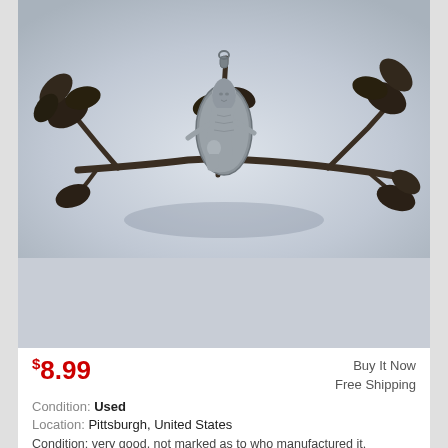VIRGIN MARY W CHILD'S ORNAMENT FIGURE RELIGIOUS CATHOLIC
[Figure (photo): A metal religious figurine of Virgin Mary holding a child, mounted on a decorative branch with leaves, bronze/pewter finish, photographed on a white background.]
$8.99
Buy It Now
Free Shipping
Condition: Used
Location: Pittsburgh, United States
Condition: very good, not marked as to who manufactured it.